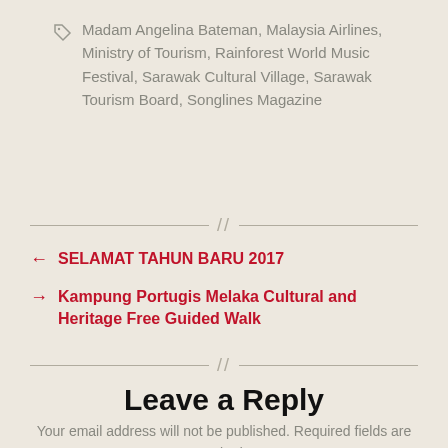Madam Angelina Bateman, Malaysia Airlines, Ministry of Tourism, Rainforest World Music Festival, Sarawak Cultural Village, Sarawak Tourism Board, Songlines Magazine
← SELAMAT TAHUN BARU 2017
→ Kampung Portugis Melaka Cultural and Heritage Free Guided Walk
Leave a Reply
Your email address will not be published. Required fields are marked *